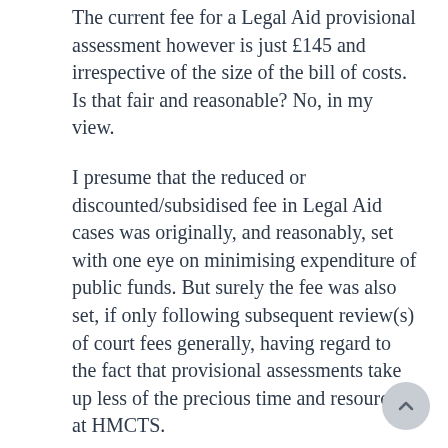The current fee for a Legal Aid provisional assessment however is just £145 and irrespective of the size of the bill of costs. Is that fair and reasonable? No, in my view.
I presume that the reduced or discounted/subsidised fee in Legal Aid cases was originally, and reasonably, set with one eye on minimising expenditure of public funds. But surely the fee was also set, if only following subsequent review(s) of court fees generally, having regard to the fact that provisional assessments take up less of the precious time and resources at HMCTS.
While, for example, a District Judge might spend, say, 2-3 hours (probably less) provisionally assessing a £75,000 Legal Aid bill, a similar bill in a between the parties assessment not subject to the new provisional assessment regime may well involve the same District Judge spending 7 or